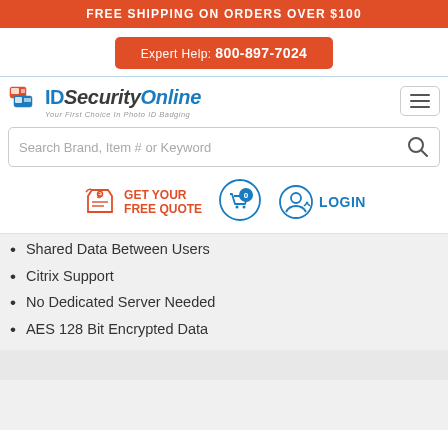FREE SHIPPING ON ORDERS OVER $100
Expert Help: 800-897-7024
[Figure (logo): IDSecurityOnline logo with tag line 'Your First Choice In Photo ID Badging']
Search Brand, Item # or Keyword
[Figure (infographic): GET YOUR FREE QUOTE button with tag icon, shopping cart with 0 items, and LOGIN button with user icon]
Shared Data Between Users
Citrix Support
No Dedicated Server Needed
AES 128 Bit Encrypted Data